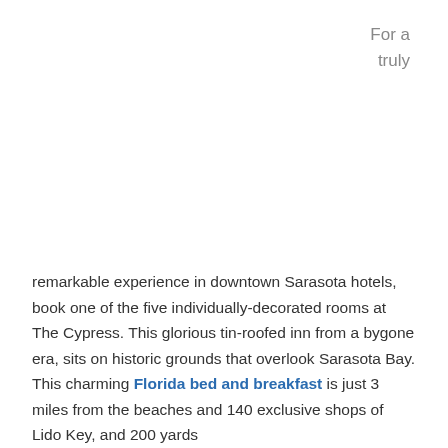For a
truly
remarkable experience in downtown Sarasota hotels, book one of the five individually-decorated rooms at The Cypress. This glorious tin-roofed inn from a bygone era, sits on historic grounds that overlook Sarasota Bay. This charming Florida bed and breakfast is just 3 miles from the beaches and 140 exclusive shops of Lido Key, and 200 yards